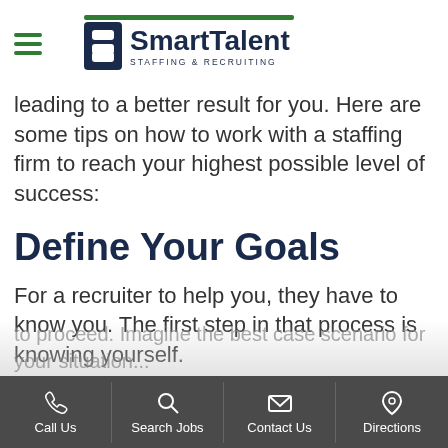SmartTalent STAFFING & RECRUITING
leading to a better result for you. Here are some tips on how to work with a staffing firm to reach your highest possible level of success:
Define Your Goals
For a recruiter to help you, they have to know you. The first step in that process is knowing yourself.
Before meeting with a staffing agency, think about how you want your career
Call Us | Search Jobs | Contact Us | Directions